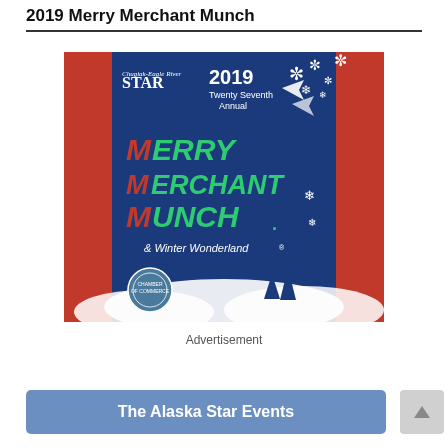2019 Merry Merchant Munch
[Figure (illustration): Event poster for 2019 Twenty Seventh Annual Merry Merchant Munch & Winter Wonderland with Chugiak-Eagle River Star logo and Chamber of Commerce seal, dark blue background with red borders, snowflake decorations, festive lettering in red and green]
Advertisement
The Alaska Star Events